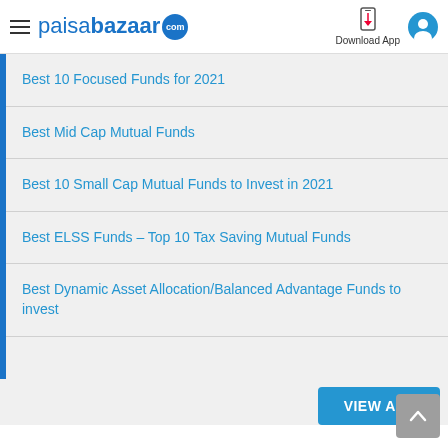paisabazaar.com | Download App
Best 10 Focused Funds for 2021
Best Mid Cap Mutual Funds
Best 10 Small Cap Mutual Funds to Invest in 2021
Best ELSS Funds – Top 10 Tax Saving Mutual Funds
Best Dynamic Asset Allocation/Balanced Advantage Funds to invest
VIEW ALL